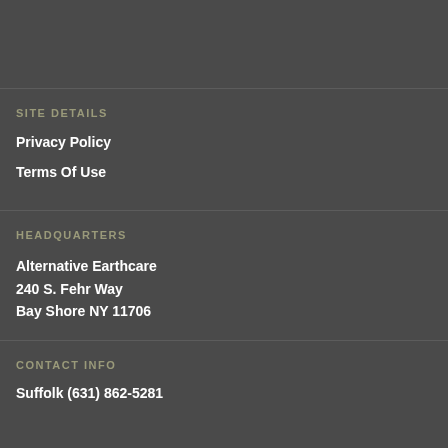SITE DETAILS
Privacy Policy
Terms Of Use
HEADQUARTERS
Alternative Earthcare
240 S. Fehr Way
Bay Shore NY 11706
CONTACT INFO
Suffolk (631) 862-5281